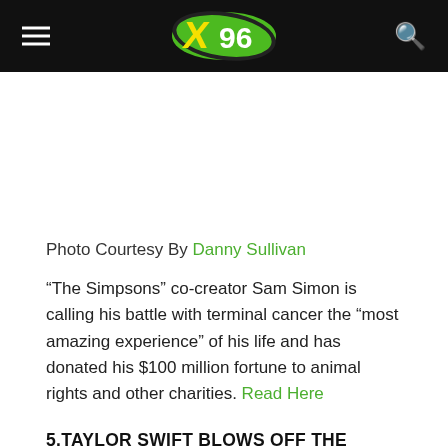X96 logo header with hamburger menu and search icon
Photo Courtesy By Danny Sullivan
“The Simpsons” co-creator Sam Simon is calling his battle with terminal cancer the “most amazing experience” of his life and has donated his $100 million fortune to animal rights and other charities. Read Here
5.TAYLOR SWIFT BLOWS OFF THE EMAS TO SEE HER BROTHER PERFORM AT NOTRE DAME